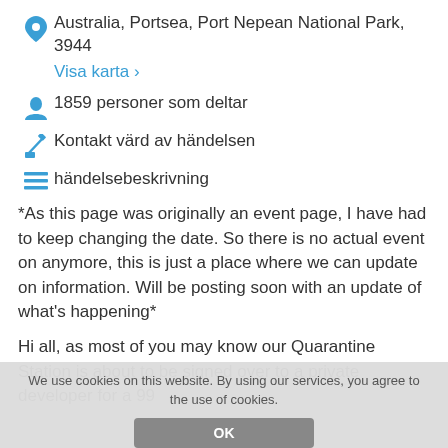Australia, Portsea, Port Nepean National Park, 3944
Visa karta >
1859 personer som deltar
Kontakt värd av händelsen
händelsebeskrivning
*As this page was originally an event page, I have had to keep changing the date. So there is no actual event on anymore, this is just a place where we can update on information. Will be posting soon with an update of what's happening*
Hi all, as most of you may know our Quarantine Station is about to be signed over to a private developer for a 99
We use cookies on this website. By using our services, you agree to the use of cookies.